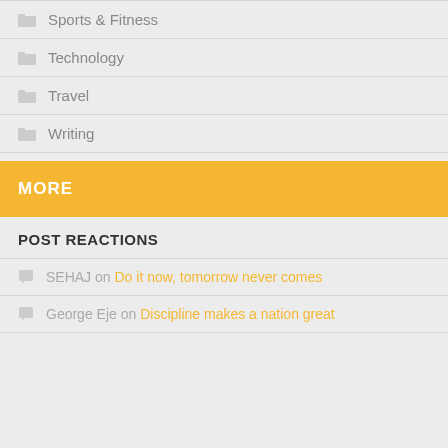Sports & Fitness
Technology
Travel
Writing
MORE
POST REACTIONS
SEHAJ on Do it now, tomorrow never comes
George Eje on Discipline makes a nation great